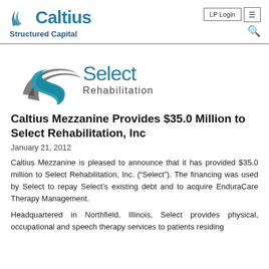[Figure (logo): Caltius Structured Capital logo with stylized double-slash icon in teal/blue]
[Figure (logo): Select Rehabilitation logo with stylized S swoosh icon in teal and gray]
Caltius Mezzanine Provides $35.0 Million to Select Rehabilitation, Inc
January 21, 2012
Caltius Mezzanine is pleased to announce that it has provided $35.0 million to Select Rehabilitation, Inc. (“Select”). The financing was used by Select to repay Select’s existing debt and to acquire EnduraCare Therapy Management.
Headquartered in Northfield, Illinois, Select provides physical, occupational and speech therapy services to patients residing